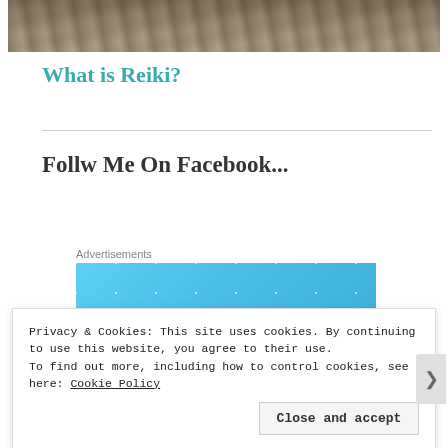[Figure (photo): Top photograph showing textured warm-toned image, partially cropped at top]
What is Reiki?
Follw Me On Facebook...
Advertisements
[Figure (other): Blue advertisement banner placeholder with sparkle/dot pattern]
Privacy & Cookies: This site uses cookies. By continuing to use this website, you agree to their use.
To find out more, including how to control cookies, see here: Cookie Policy
Close and accept